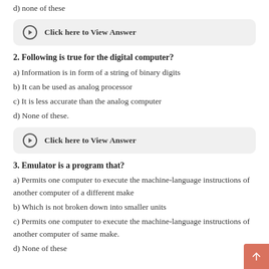d) none of these
Click here to View Answer
2. Following is true for the digital computer?
a) Information is in form of a string of binary digits
b) It can be used as analog processor
c) It is less accurate than the analog computer
d) None of these.
Click here to View Answer
3. Emulator is a program that?
a) Permits one computer to execute the machine-language instructions of another computer of a different make
b) Which is not broken down into smaller units
c) Permits one computer to execute the machine-language instructions of another computer of same make.
d) None of these